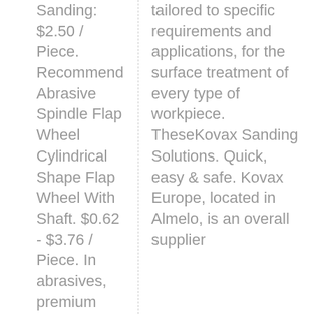Sanding: $2.50 / Piece. Recommend Abrasive Spindle Flap Wheel Cylindrical Shape Flap Wheel With Shaft. $0.62 - $3.76 / Piece. In abrasives, premium quality has a name: 3M™ Cubitron™ II. We're reinventing
tailored to specific requirements and applications, for the surface treatment of every type of workpiece. TheseKovax Sanding Solutions. Quick, easy & safe. Kovax Europe, located in Almelo, is an overall supplier